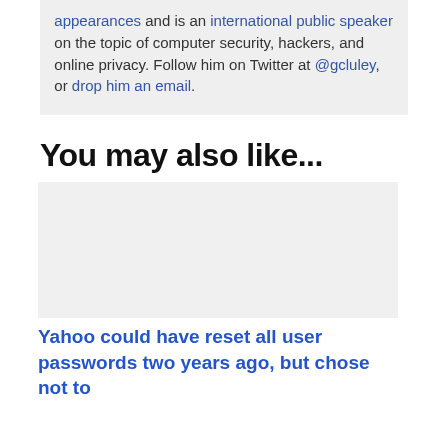appearances and is an international public speaker on the topic of computer security, hackers, and online privacy. Follow him on Twitter at @gcluley, or drop him an email.
You may also like...
[Figure (other): Placeholder image area for a related article thumbnail]
Yahoo could have reset all user passwords two years ago, but chose not to